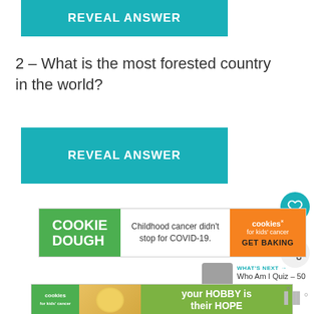[Figure (other): Teal/turquoise button labeled REVEAL ANSWER at top of page]
2 – What is the most forested country in the world?
[Figure (other): Teal/turquoise button labeled REVEAL ANSWER]
[Figure (other): Advertisement banner: Cookie Dough - Childhood cancer didn't stop for COVID-19. Cookies for kids cancer GET BAKING]
[Figure (other): What's Next panel: Who Am I Quiz - 50 'Guess...]
[Figure (other): Bottom advertisement banner: your HOBBY is their HOPE - cookies for kids cancer]